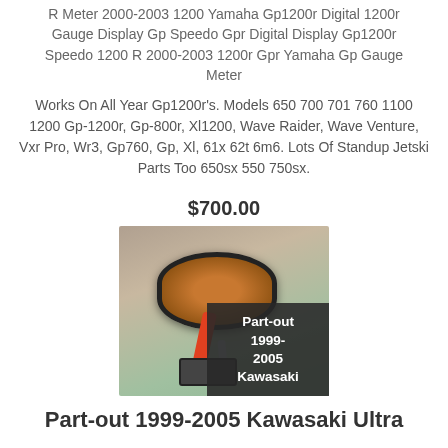R Meter 2000-2003 1200 Yamaha Gp1200r Digital 1200r Gauge Display Gp Speedo Gpr Digital Display Gp1200r Speedo 1200 R 2000-2003 1200r Gpr Yamaha Gp Gauge Meter
Works On All Year Gp1200r's. Models 650 700 701 760 1100 1200 Gp-1200r, Gp-800r, Xl1200, Wave Raider, Wave Venture, Vxr Pro, Wr3, Gp760, Gp, Xl, 61x 62t 6m6. Lots Of Standup Jetski Parts Too 650sx 550 750sx.
$700.00
[Figure (photo): Photo of a Yamaha Gp1200r digital gauge/speedo meter with an orange oval display face, red cable, and connector, with a dark overlay label reading 'Part-out 1999-2005 Kawasaki']
Part-out 1999-2005 Kawasaki Ultra